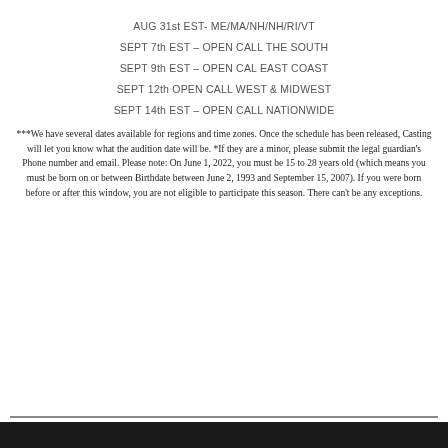AUG 31st EST- ME/MA/NH/NH/RI/VT
SEPT 7th EST – OPEN CALL THE SOUTH
SEPT 9th EST – OPEN CAL EAST COAST
SEPT 12th OPEN CALL WEST & MIDWEST
SEPT 14th EST – OPEN CALL NATIONWIDE
***We have several dates available for regions and time zones. Once the schedule has been released, Casting will let you know what the audition date will be. *If they are a minor, please submit the legal guardian's Phone number and email. Please note: On June 1, 2022, you must be 15 to 28 years old (which means you must be born on or between Birthdate between June 2, 1993 and September 15, 2007). If you were born before or after this window, you are not eligible to participate this season. There can't be any exceptions.